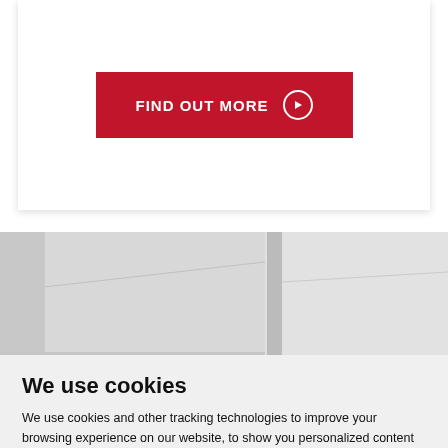[Figure (other): A red button with text FIND OUT MORE and a right-arrow circle icon, centered on a white card with shadow]
[Figure (photo): A partially visible interior room scene showing white/grey walls and ceiling, cropped at the bottom]
We use cookies
We use cookies and other tracking technologies to improve your browsing experience on our website, to show you personalized content and targeted ads, to analyze our website traffic, and to understand where our visitors are coming from.
ACCEPT  Preferences